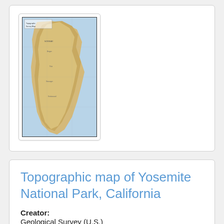[Figure (map): Thumbnail of a topographic map showing a coastal landmass with tan/golden coloring on a light blue background, with text labels throughout]
Topographic map of Yosemite National Park, California
Creator:
Geological Survey (U.S.)
Created:
1920
Contributed By:
University of Minnesota Libraries, John R. Borchert Map Library.
Last Updated: